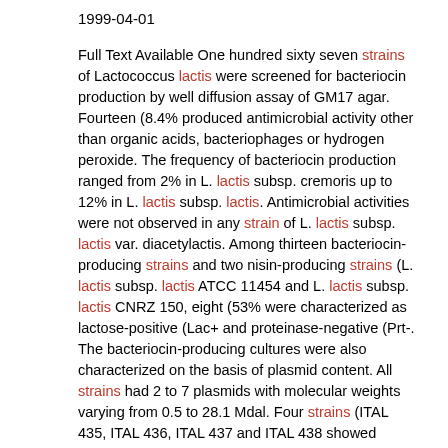1999-04-01
Full Text Available One hundred sixty seven strains of Lactococcus lactis were screened for bacteriocin production by well diffusion assay of GM17 agar. Fourteen (8.4% produced antimicrobial activity other than organic acids, bacteriophages or hydrogen peroxide. The frequency of bacteriocin production ranged from 2% in L. lactis subsp. cremoris up to 12% in L. lactis subsp. lactis. Antimicrobial activities were not observed in any strain of L. lactis subsp. lactis var. diacetylactis. Among thirteen bacteriocin-producing strains and two nisin-producing strains (L. lactis subsp. lactis ATCC 11454 and L. lactis subsp. lactis CNRZ 150, eight (53% were characterized as lactose-positive (Lac+ and proteinase-negative (Prt-. The bacteriocin-producing cultures were also characterized on the basis of plasmid content. All strains had 2 to 7 plasmids with molecular weights varying from 0.5 to 28.1 Mdal. Four strains (ITAL 435, ITAL 436, ITAL 437 and ITAL 438 showed identical profiles and the other were quite distinct.Um total de 167 linhagens de L. lactis foi selecionado para os testes de produÃ§Ã£o de bacteriocinas pelo mÃ©todo de difusÃ£o em poÃ§os em agar GM17. Desse total, 14 (8.4% produziram substÃ¢ncias inibidoras que nÃ£o foram associadas com Ã¡cidos orgÃ¢nicos,